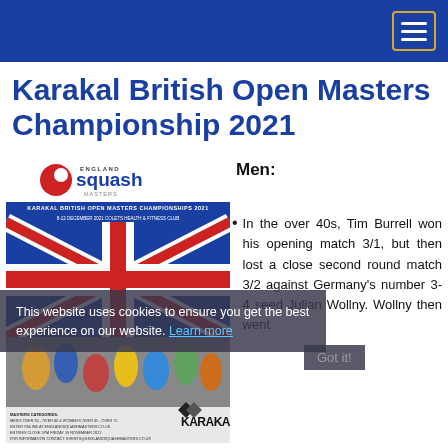Karakal British Open Masters Championship 2021
[Figure (photo): England Squash Masters event poster for Karakal British Open Masters Championships 2021, 8-12 December 2021, Colets Health & Fitness Club, with Union Jack and squash players]
Men:
In the over 40s, Tim Burrell won his opening match 3/1, but then lost a close second round match 3/2 against Germany's number 3-4 seed Julian Wollny. Wollny then went